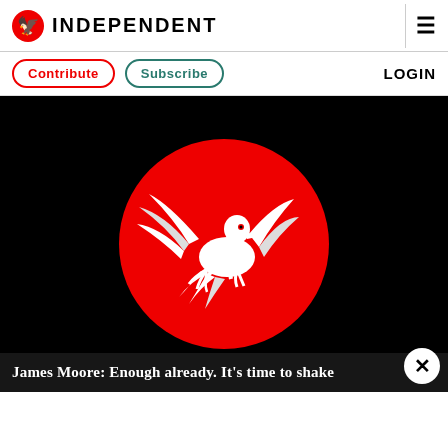INDEPENDENT
Contribute  Subscribe  LOGIN
[Figure (logo): The Independent newspaper logo: a white eagle on a red circle, on a black background banner image]
James Moore: Enough already. It's time to shake